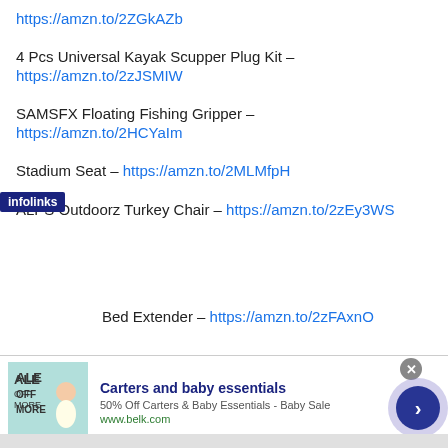https://amzn.to/2ZGkAZb
4 Pcs Universal Kayak Scupper Plug Kit –
https://amzn.to/2zJSMIW
SAMSFX Floating Fishing Gripper –
https://amzn.to/2HCYaIm
Stadium Seat – https://amzn.to/2MLMfpH
ALPS Outdoorz Turkey Chair  –  https://amzn.to/2zEy3WS
Bed Extender – https://amzn.to/2zFAxnO
[Figure (screenshot): Infolinks advertisement banner for Carters and baby essentials from belk.com. Shows '50% Off Carters & Baby Essentials - Baby Sale' at www.belk.com with a teal/mint colored ad image showing 'ALE OFF MORE' text and a baby photo.]